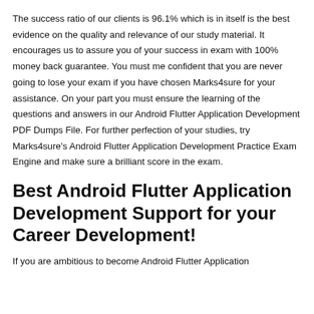The success ratio of our clients is 96.1% which is in itself is the best evidence on the quality and relevance of our study material. It encourages us to assure you of your success in exam with 100% money back guarantee. You must me confident that you are never going to lose your exam if you have chosen Marks4sure for your assistance. On your part you must ensure the learning of the questions and answers in our Android Flutter Application Development PDF Dumps File. For further perfection of your studies, try Marks4sure's Android Flutter Application Development Practice Exam Engine and make sure a brilliant score in the exam.
Best Android Flutter Application Development Support for your Career Development!
If you are ambitious to become Android Flutter Application